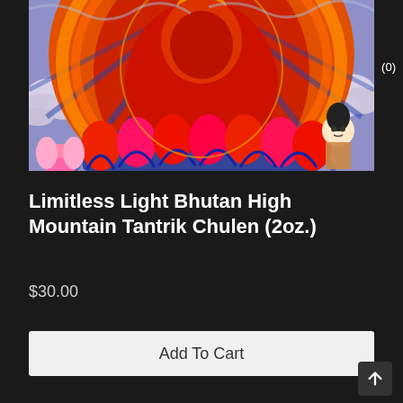[Figure (illustration): Colorful Tibetan/Bhutanese Thangka painting showing a deity figure with orange, red, blue, and purple colors, surrounded by clouds and lotus petals, with a smaller Buddha figure visible at the bottom right.]
Limitless Light Bhutan High Mountain Tantrik Chulen (2oz.)
$30.00
Add To Cart